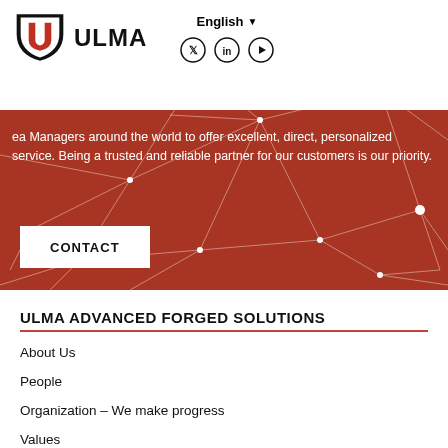[Figure (screenshot): ULMA website header screenshot showing logo, English language selector with social media icons (Twitter, LinkedIn, YouTube), red hero background with network connectivity graphic overlay, text about Area Managers and personalized service, and a CONTACT button]
ea Managers around the world to offer excellent, direct, personalized service. Being a trusted and reliable partner for our customers is our priority.
ULMA ADVANCED FORGED SOLUTIONS
About Us
People
Organization – We make progress
Values